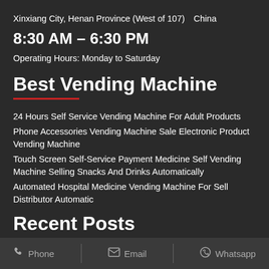Xinxiang City, Henan Province (West of 107)　China
8:30 AM – 6:30 PM
Operating Hours: Monday to Saturday
Best Vending Machine
24 Hours Self Service Vending Machine For Adult Products
Phone Accessories Vending Machine Sale Electronic Product Vending Machine
Touch Screen Self-Service Payment Medicine Self Vending Machine Selling Snacks And Drinks Automatically
Automated Hospital Medicine Vending Machine For Sell Distributor Automatic
Recent Posts
Phone   Email   Whatsapp